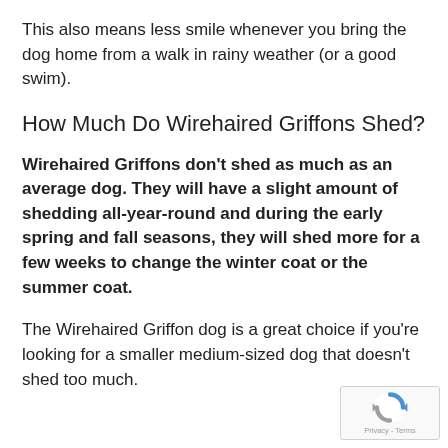This also means less smile whenever you bring the dog home from a walk in rainy weather (or a good swim).
How Much Do Wirehaired Griffons Shed?
Wirehaired Griffons don't shed as much as an average dog. They will have a slight amount of shedding all-year-round and during the early spring and fall seasons, they will shed more for a few weeks to change the winter coat or the summer coat.
The Wirehaired Griffon dog is a great choice if you're looking for a smaller medium-sized dog that doesn't shed too much.
[Figure (logo): reCAPTCHA badge with blue and grey circular arrow logo and Privacy - Terms text]